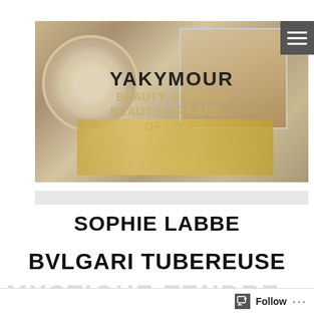[Figure (photo): Banner header image showing decorative perfume boxes, gold bottles, and a vintage photograph, overlaid with blog title text: YAKYMOUR, BEAUTY, FASHION, BEAUTY, ART AND... OF LOVE]
SOPHIE LABBE
BVLGARI TUBEREUSE
MYSTIQUE TENDRE...
Follow ...